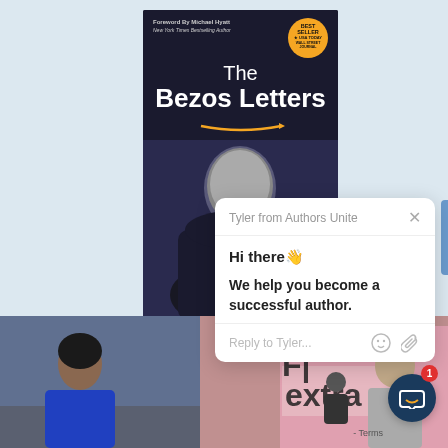[Figure (illustration): Book cover for 'The Bezos Letters' with foreword by Michael Hyatt. Dark background with white text. Shows a bald man from behind. Best Seller badge visible.]
[Figure (screenshot): Chat popup from 'Tyler from Authors Unite' with message: 'Hi there 👋' and 'We help you become a successful author.' with a reply input field.]
Tyler from Authors Unite
Hi there 👋

We help you become a successful author.
Reply to Tyler...
[Figure (photo): Woman in blue top sitting at a desk, TV show setting.]
[Figure (photo): Man on TV show set with 'extra' logo visible in background.]